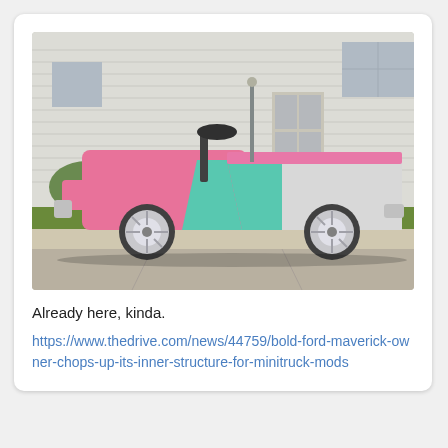[Figure (photo): A customized mini truck convertible with pink, white, and teal paint job, parked in a residential driveway in front of a white house. The truck has chrome/white wheels and no roof.]
Already here, kinda.
https://www.thedrive.com/news/44759/bold-ford-maverick-owner-chops-up-its-inner-structure-for-minitruck-mods